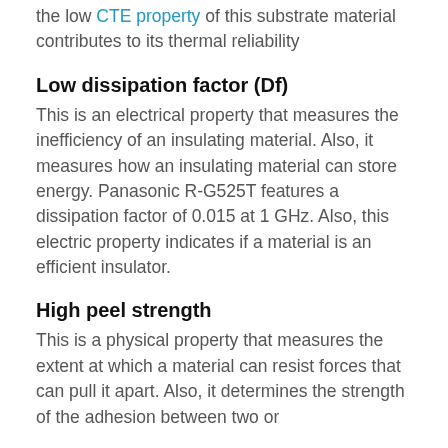the low CTE property of this substrate material contributes to its thermal reliability
Low dissipation factor (Df)
This is an electrical property that measures the inefficiency of an insulating material. Also, it measures how an insulating material can store energy. Panasonic R-G525T features a dissipation factor of 0.015 at 1 GHz. Also, this electric property indicates if a material is an efficient insulator.
High peel strength
This is a physical property that measures the extent at which a material can resist forces that can pull it apart. Also, it determines the strength of the adhesion between two or